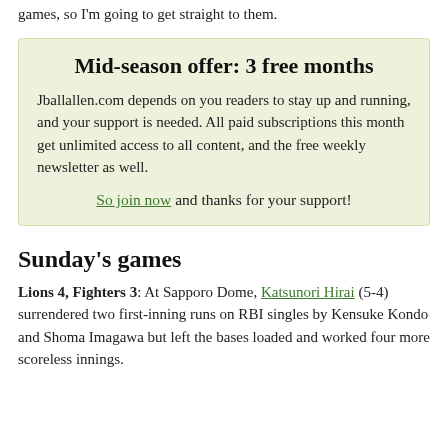games, so I'm going to get straight to them.
Mid-season offer: 3 free months
Jballallen.com depends on you readers to stay up and running, and your support is needed. All paid subscriptions this month get unlimited access to all content, and the free weekly newsletter as well.
So join now and thanks for your support!
Sunday's games
Lions 4, Fighters 3: At Sapporo Dome, Katsunori Hirai (5-4) surrendered two first-inning runs on RBI singles by Kensuke Kondo and Shoma Imagawa but left the bases loaded and worked four more scoreless innings.